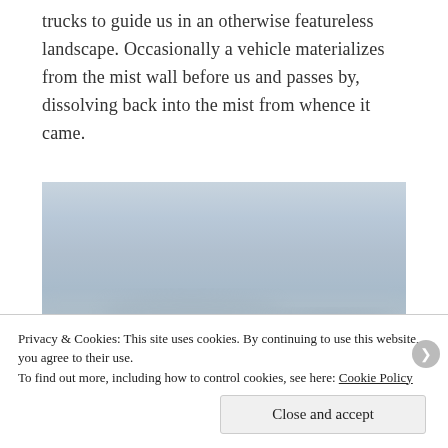trucks to guide us in an otherwise featureless landscape. Occasionally a vehicle materializes from the mist wall before us and passes by, dissolving back into the mist from whence it came.
[Figure (photo): A misty, grey-blue landscape photograph showing a foggy scene with indistinct forms barely visible through the mist.]
Privacy & Cookies: This site uses cookies. By continuing to use this website, you agree to their use.
To find out more, including how to control cookies, see here: Cookie Policy
Close and accept